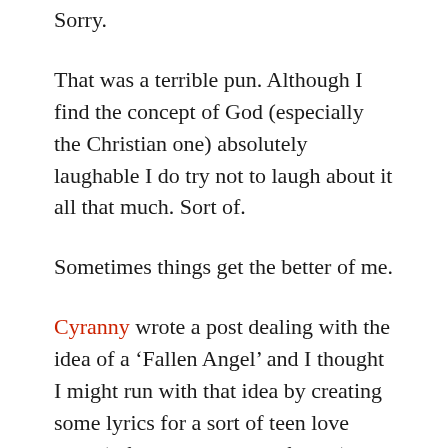Sorry.
That was a terrible pun. Although I find the concept of God (especially the Christian one) absolutely laughable I do try not to laugh about it all that much. Sort of.
Sometimes things get the better of me.
Cyranny wrote a post dealing with the idea of a ‘Fallen Angel’ and I thought I might run with that idea by creating some lyrics for a sort of teen love song (a former specialty of mine) that ended up in the back seat of a car.
But I got a bit off track. So the accompanying picture is irrelevant. But it is special to me, nonetheless.